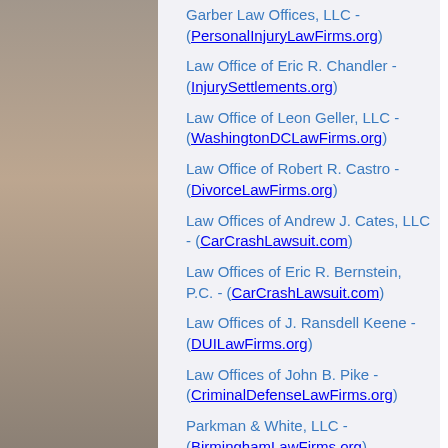Garber Law Offices, LLC - (PersonalInjuryLawFirms.org)
Law Office of Eric R. Chandler - (InjurySettlements.org)
Law Office of Leon Geller, LLC - (WashingtonDCLawFirms.org)
Law Office of Robert R. Castro - (DivorceLawFirms.org)
Law Offices of Andrew J. Cates, LLC - (CarCrashLawsuit.com)
Law Offices of Eric R. Bernstein, P.C. - (CarCrashLawsuit.com)
Law Offices of J. Ransdell Keene - (DUILawFirms.org)
Law Offices of John B. Pike - (CriminalDefenseLawFirms.org)
Parkman & White, LLC - (BirminghamLawFirms.org)
The Eichner Law Firm - (DenverLawFirms.org)
The Law Office of John J. Finckbeiner - (NewOrleansLawFirms.org)